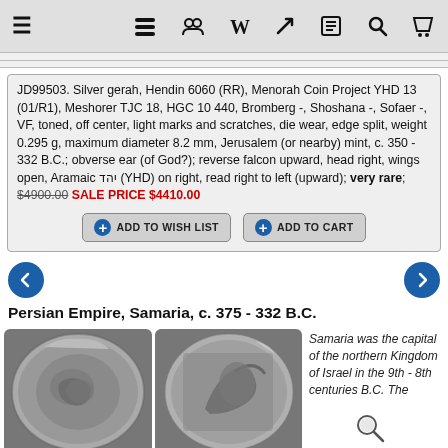Navigation bar with hamburger menu and icons
JD99503. Silver gerah, Hendin 6060 (RR), Menorah Coin Project YHD 13 (01/R1), Meshorer TJC 18, HGC 10 440, Bromberg -, Shoshana -, Sofaer -, VF, toned, off center, light marks and scratches, die wear, edge split, weight 0.295 g, maximum diameter 8.2 mm, Jerusalem (or nearby) mint, c. 350 - 332 B.C.; obverse ear (of God?); reverse falcon upward, head right, wings open, Aramaic יהד (YHD) on right, read right to left (upward); very rare; $4900.00 SALE PRICE $4410.00
Persian Empire, Samaria, c. 375 - 332 B.C.
[Figure (photo): Two ancient silver coins side by side - obverse and reverse of a silver gerah from Jerusalem mint c. 350-332 B.C.]
Samaria was the capital of the northern Kingdom of Israel in the 9th - 8th centuries B.C. The